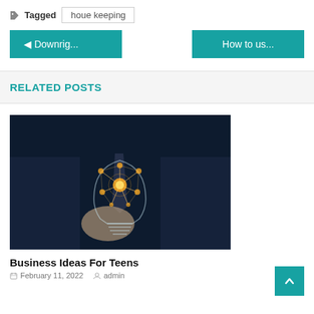Tagged  houe keeping
◄ Downrig...
How to us...
RELATED POSTS
[Figure (photo): A person in a dark suit holding a glowing connected light bulb network illustration against a dark background]
Business Ideas For Teens
February 11, 2022   admin